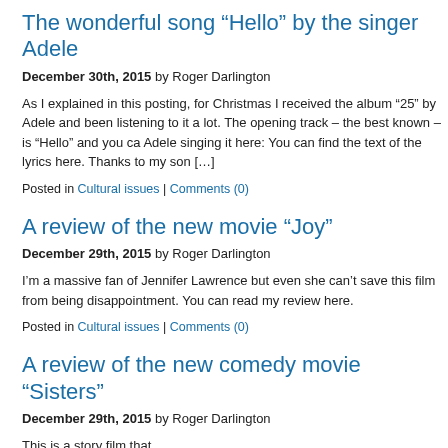The wonderful song “Hello” by the singer Adele
December 30th, 2015 by Roger Darlington
As I explained in this posting, for Christmas I received the album “25” by Adele and been listening to it a lot. The opening track – the best known – is “Hello” and you ca Adele singing it here: You can find the text of the lyrics here. Thanks to my son […]
Posted in Cultural issues | Comments (0)
A review of the new movie “Joy”
December 29th, 2015 by Roger Darlington
I’m a massive fan of Jennifer Lawrence but even she can’t save this film from being disappointment. You can read my review here.
Posted in Cultural issues | Comments (0)
A review of the new comedy movie “Sisters”
December 29th, 2015 by Roger Darlington
This is a story film that…